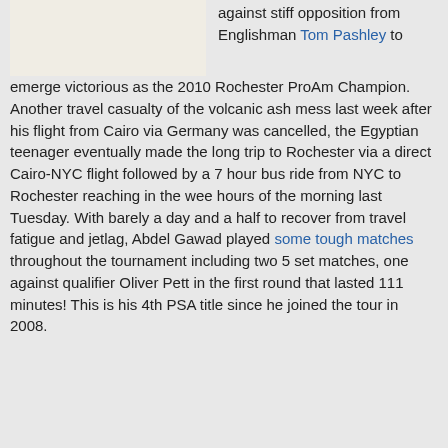[Figure (photo): Two people in white and black attire, partial crop at top of page]
against stiff opposition from Englishman Tom Pashley to emerge victorious as the 2010 Rochester ProAm Champion. Another travel casualty of the volcanic ash mess last week after his flight from Cairo via Germany was cancelled, the Egyptian teenager eventually made the long trip to Rochester via a direct Cairo-NYC flight followed by a 7 hour bus ride from NYC to Rochester reaching in the wee hours of the morning last Tuesday. With barely a day and a half to recover from travel fatigue and jetlag, Abdel Gawad played some tough matches throughout the tournament including two 5 set matches, one against qualifier Oliver Pett in the first round that lasted 111 minutes! This is his 4th PSA title since he joined the tour in 2008.